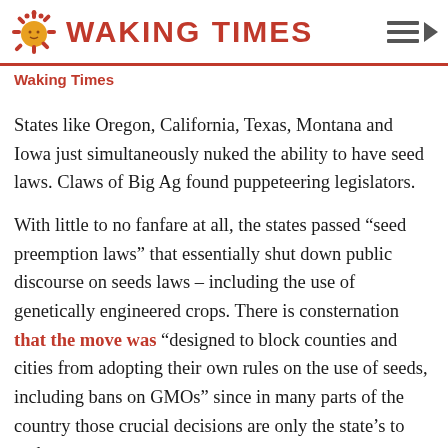WAKING TIMES
Waking Times
States like Oregon, California, Texas, Montana and Iowa just simultaneously nuked the ability to have seed laws. Claws of Big Ag found puppeteering legislators.
With little to no fanfare at all, the states passed “seed preemption laws” that essentially shut down public discourse on seeds laws – including the use of genetically engineered crops. There is consternation that the move was “designed to block counties and cities from adopting their own rules on the use of seeds, including bans on GMOs” since in many parts of the country those crucial decisions are only the state’s to make.